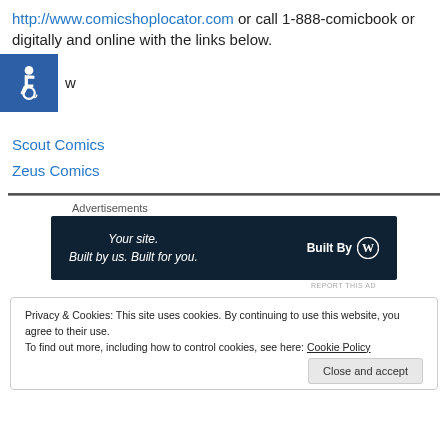http://www.comicshoplocator.com or call 1-888-comicbook or digitally and online with the links below.
[Figure (other): Accessibility icon (wheelchair symbol) in blue square, with partial text 'w' visible to the right]
Scout Comics
Zeus Comics
[Figure (other): Advertisement banner: dark navy background. Left side italic text: 'Your site. Built by us. Built for you.' Right side: 'Built By' with WordPress logo in white]
REPORT THIS AD
Privacy & Cookies: This site uses cookies. By continuing to use this website, you agree to their use.
To find out more, including how to control cookies, see here: Cookie Policy
Close and accept